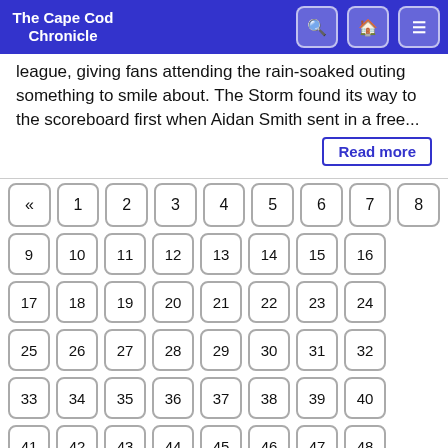The Cape Cod Chronicle
league, giving fans attending the rain-soaked outing something to smile about. The Storm found its way to the scoreboard first when Aidan Smith sent in a free...
Read more
« 1 2 3 4 5 6 7 8 9 10 11 12 13 14 15 16 17 18 19 20 21 22 23 24 25 26 27 28 29 30 31 32 33 34 35 36 37 38 39 40 41 42 43 44 45 46 47 48